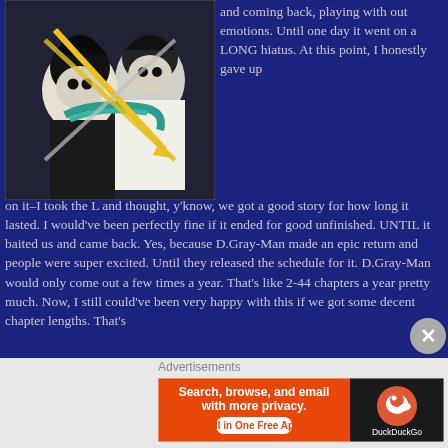[Figure (illustration): Manga artwork showing two dark-haired characters with swords/weapons, one with a teal/blue scarf, on a dark background]
and coming back, playing with out emotions. Until one day it went on a LONG hiatus. At this point, I honestly gave up on it–I took the L and thought, y'know, we got a good story for how long it lasted. I would've been perfectly fine if it ended for good unfinished. UNTIL it baited us and came back. Yes, because D.Gray-Man made an epic return and people were super excited. Until they released the schedule for it. D.Gray-Man would only come out a few times a year. That's like 2-44 chapters a year pretty much. Now, I still could've been very happy with this if we got some decent chapter lengths. That's
[Figure (screenshot): DuckDuckGo advertisement banner: orange left section with text 'Search, browse, and email with more privacy. All in One Free App' and dark right section with DuckDuckGo logo]